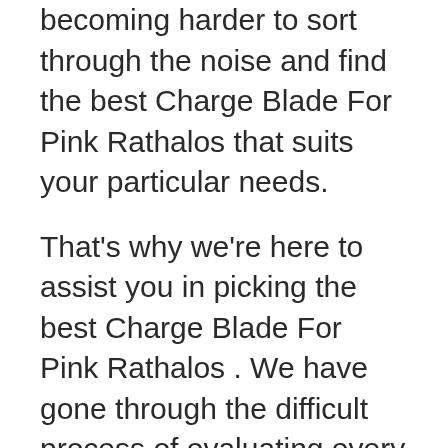becoming harder to sort through the noise and find the best Charge Blade For Pink Rathalos that suits your particular needs.
That's why we're here to assist you in picking the best Charge Blade For Pink Rathalos . We have gone through the difficult process of evaluating every product in detail to find the best one. Whether you're buying for the first time or looking for an upgrade. Brace yourself for everything you need to know about buying the best